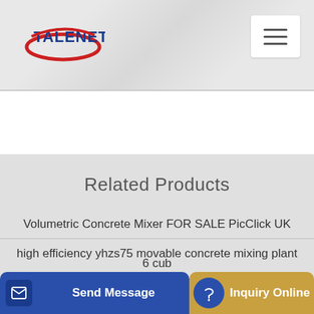[Figure (logo): TALENET logo with red oval and blue text]
[Figure (other): Hamburger menu icon (three horizontal lines) in white rounded box]
Related Products
Volumetric Concrete Mixer FOR SALE PicClick UK
high efficiency yhzs75 movable concrete mixing plant
6 cub
Send Message
Inquiry Online